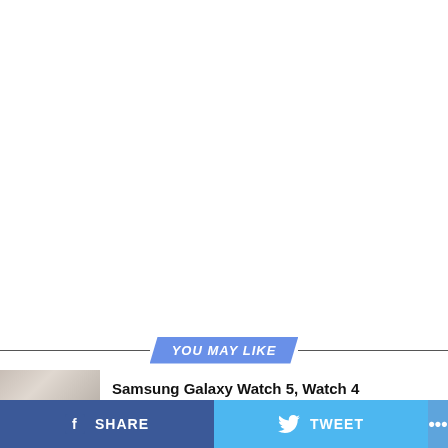YOU MAY LIKE
Samsung Galaxy Watch 5, Watch 4
[Figure (screenshot): Article thumbnail image showing a wrist/watch]
SHARE  TWEET  ...